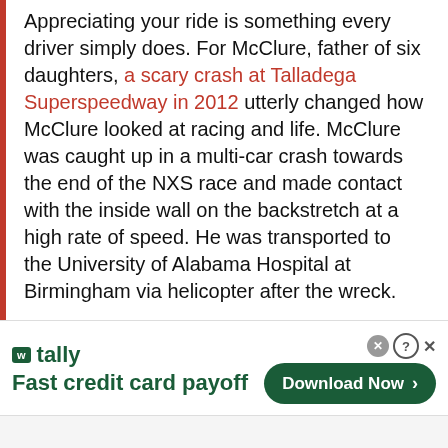Appreciating your ride is something every driver simply does. For McClure, father of six daughters, a scary crash at Talladega Superspeedway in 2012 utterly changed how McClure looked at racing and life. McClure was caught up in a multi-car crash towards the end of the NXS race and made contact with the inside wall on the backstretch at a high rate of speed. He was transported to the University of Alabama Hospital at Birmingham via helicopter after the wreck.
McClure suffered a concussion as well as other internal injuries, which caused major
[Figure (other): Advertisement banner for Tally app - Fast credit card payoff with Download Now button]